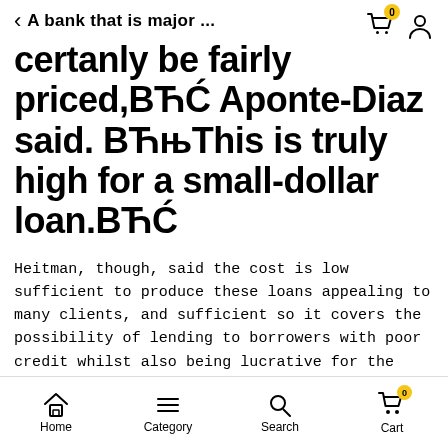A bank that is major ...
certanly be fairly priced,ВЋĆ Aponte-Diaz said. ВЋњThis is truly high for a small-dollar loan.ВЋĆ
Heitman, though, said the cost is low sufficient to produce these loans appealing to many clients, and sufficient so it covers the possibility of lending to borrowers with poor credit whilst also being lucrative for the bank.
She declined to give precise underwriting criteria when it comes to loans but stated the lender is searching at
Home  Category  Search  Cart